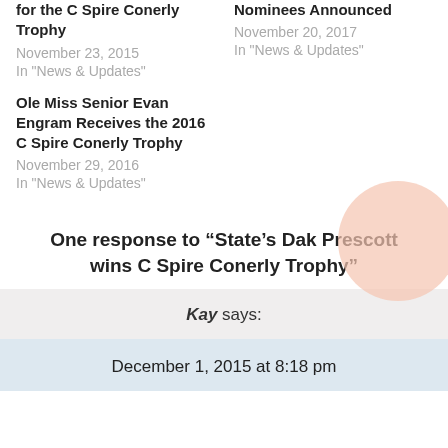for the C Spire Conerly Trophy
November 23, 2015
In "News & Updates"
Nominees Announced
November 20, 2017
In "News & Updates"
Ole Miss Senior Evan Engram Receives the 2016 C Spire Conerly Trophy
November 29, 2016
In "News & Updates"
One response to “State's Dak Prescott wins C Spire Conerly Trophy”
Kay says:
December 1, 2015 at 8:18 pm